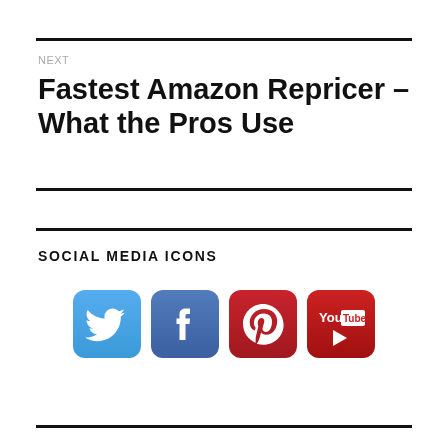NEXT
Fastest Amazon Repricer – What the Pros Use
SOCIAL MEDIA ICONS
[Figure (illustration): Row of four social media icons: Twitter (blue bird), Facebook (blue f), Pinterest (red P), YouTube (red play button with 'You Tube' text)]